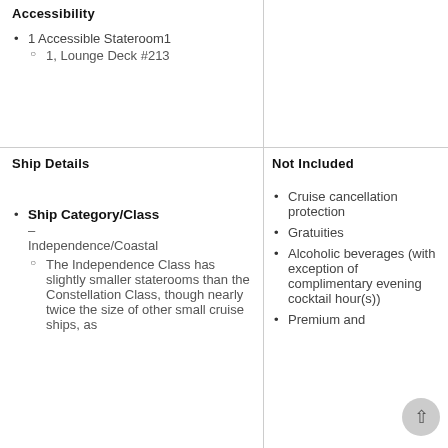Accessibility
1 Accessible Stateroom1
1, Lounge Deck #213
Ship Details
Ship Category/Class – Independence/Coastal
The Independence Class has slightly smaller staterooms than the Constellation Class, though nearly twice the size of other small cruise ships, as
Not Included
Cruise cancellation protection
Gratuities
Alcoholic beverages (with exception of complimentary evening cocktail hour(s))
Premium and